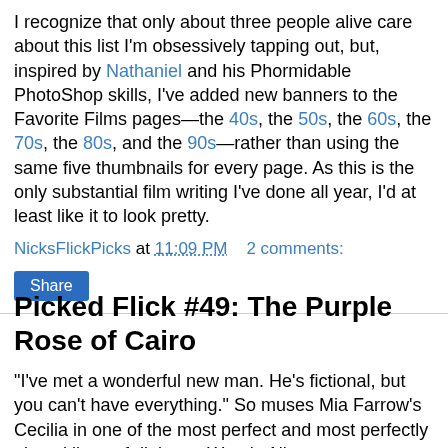I recognize that only about three people alive care about this list I'm obsessively tapping out, but, inspired by Nathaniel and his Phormidable PhotoShop skills, I've added new banners to the Favorite Films pages—the 40s, the 50s, the 60s, the 70s, the 80s, and the 90s—rather than using the same five thumbnails for every page. As this is the only substantial film writing I've done all year, I'd at least like it to look pretty.
NicksFlickPicks at 11:09 PM   2 comments:
Share
Picked Flick #49: The Purple Rose of Cairo
"I've met a wonderful new man. He's fictional, but you can't have everything." So muses Mia Farrow's Cecilia in one of the most perfect and most perfectly played lines of dialogue Woody Allen ever wrote, a line that is equal parts honey and rue, just like the movie. Cecilia is a poor waitress, in at least